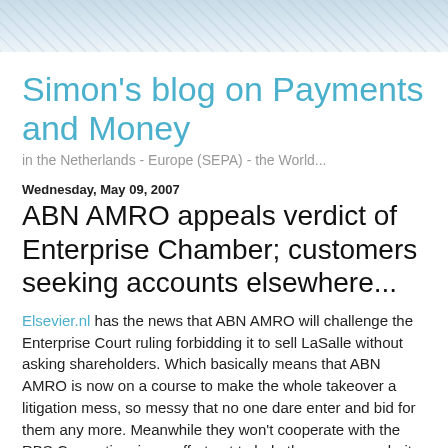Simon's blog on Payments and Money
Simon's blog on Payments and Money
in the Netherlands - Europe (SEPA) - the World...
Wednesday, May 09, 2007
ABN AMRO appeals verdict of Enterprise Chamber; customers seeking accounts elsewhere...
Elsevier.nl has the news that ABN AMRO will challenge the Enterprise Court ruling forbidding it to sell LaSalle without asking shareholders. Which basically means that ABN AMRO is now on a course to make the whole takeover a litigation mess, so messy that no one dare enter and bid for them any more. Meanwhile they won't cooperate with the RBS Consortium in an effort not to help them prepare clarity for the acquisition bia shareholder clarity of their shares and it